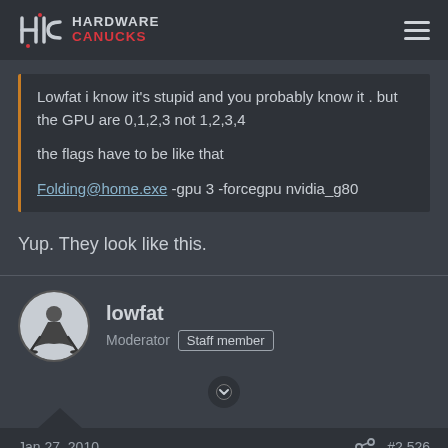Hardware Canucks
Lowfat i know it's stupid and you probably know it . but the GPU are 0,1,2,3 not 1,2,3,4

the flags have to be like that

Folding@home.exe -gpu 3 -forcegpu nvidia_g80
Yup. They look like this.
lowfat
Moderator  Staff member
Jan 27, 2010  #2,526